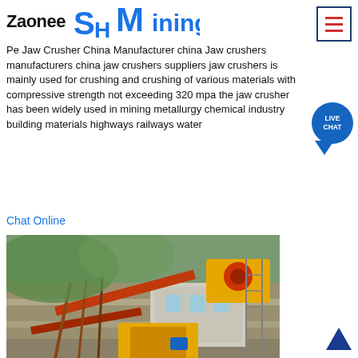Zaonee | SH Mining
Pe Jaw Crusher China Manufacturer china Jaw crushers manufacturers china jaw crushers suppliers jaw crushers is mainly used for crushing and crushing of various materials with compressive strength not exceeding 320 mpa the jaw crusher has been widely used in mining metallurgy chemical industry building materials highways railways water
Chat Online
[Figure (photo): Outdoor mining site with jaw crusher machinery, yellow and red equipment on stone terraced landscape with green hills in background]
Original Manufacturer Of Jaw Crusher
Pe jaw crusher original manufacturer zao Henan Mining Pe jaw crusher original manufacturer zao HOME Pe jaw crusher original periodflow to have broken open flow more for autogenous grinding mill